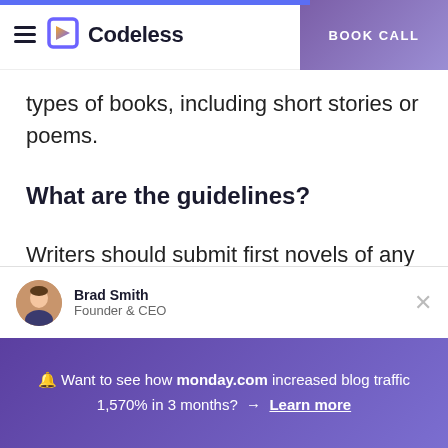Codeless — BOOK CALL
types of books, including short stories or poems.
What are the guidelines?
Writers should submit first novels of any genre that were published in the previous
Brad Smith
Founder & CEO
🔔 Want to see how monday.com increased blog traffic 1,570% in 3 months? → Learn more